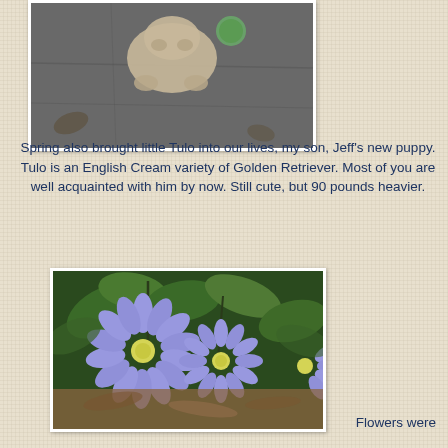[Figure (photo): Photo of a puppy (Tulo, an English Cream Golden Retriever) on a pavement/ground surface, viewed from above]
Spring also brought little Tulo into our lives, my son, Jeff's new puppy. Tulo is an English Cream variety of Golden Retriever. Most of you are well acquainted with him by now. Still cute, but 90 pounds heavier.
[Figure (photo): Close-up photo of purple/blue anemone flowers (Anemone blanda) with green foliage and mulch in the background]
Flowers were